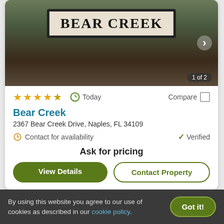[Figure (photo): Bear Creek community entrance sign with landscaped bushes in foreground. White monument-style sign with black border reading BEAR CREEK.]
★★★★★
Today
Compare
Bear Creek
2367 Bear Creek Drive, Naples, FL 34109
Contact for availability
Verified
Ask for pricing
View Details
Contact Property
By using this website you agree to our use of cookies as described in our cookie policy.
Got it!